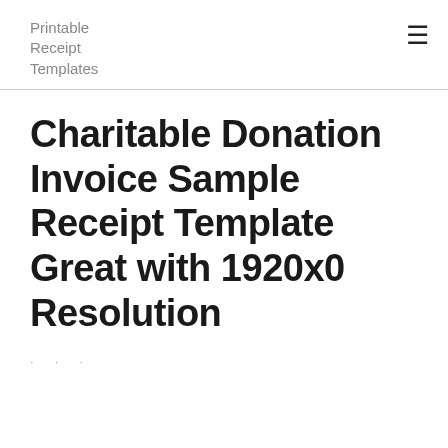Printable Receipt Templates
Charitable Donation Invoice Sample Receipt Template Great with 1920x0 Resolution
· · ·